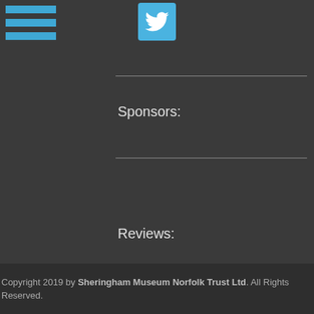[Figure (logo): Three horizontal blue bars (hamburger/menu icon) in the top-left corner]
[Figure (logo): Twitter bird icon in a blue rounded square button, centered at top]
Sponsors:
Reviews:
Copyright 2019 by Sheringham Museum Norfolk Trust Ltd. All Rights Reserved.